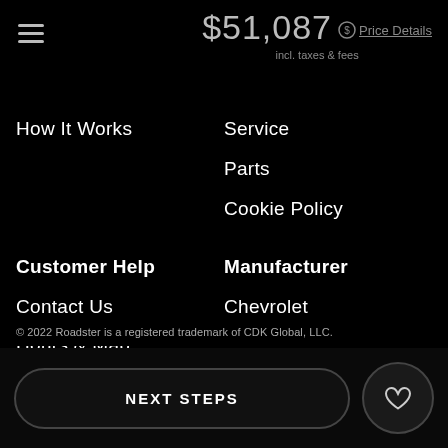$51,087 Price Details incl. taxes & fees
How It Works
Service
Parts
Cookie Policy
Customer Help
Manufacturer
Contact Us
Chevrolet
Hours & Map
About
Privacy
Sitemap
© 2022 Roadster is a registered trademark of CDK Global, LLC.
NEXT STEPS